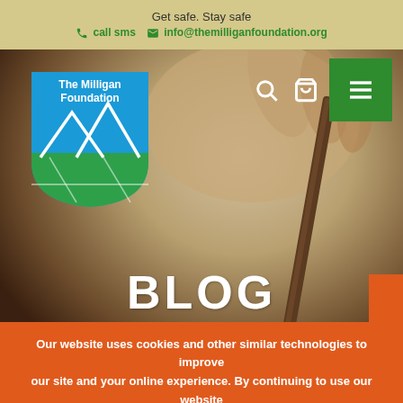Get safe. Stay safe
call sms   info@themilliganfoundation.org
[Figure (logo): The Milligan Foundation logo — shield shape with blue top half showing white mountain/triangle outlines and green bottom half with white crossing lines]
[Figure (photo): Close-up photo of a hand holding a wooden pencil or pen, writing on paper, with warm beige tones]
BLOG
PASSIONS PAYCHECKS PURPOSE NAVIGATING CREATING LIVING
Our website uses cookies and other similar technologies to improve our site and your online experience. By continuing to use our website you consent to cookies being used.
AGREE